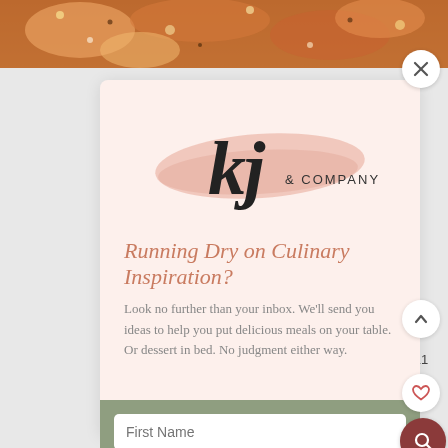[Figure (photo): Food photo strip at top showing colorful roasted vegetables]
[Figure (logo): kj & COMPANY logo with pink brushstroke background]
Running Dry on Culinary Inspiration?
Look no further than your inbox. We'll send you ideas to help you put delicious meals on your table. Or dessert in bed. No judgment either way.